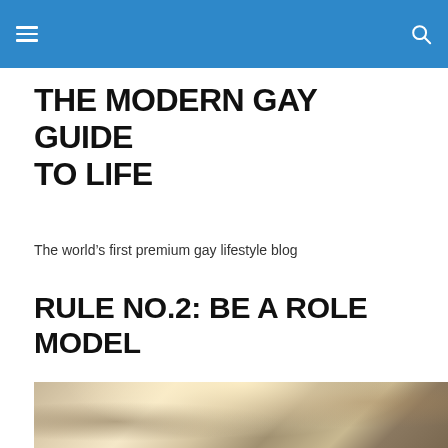THE MODERN GAY GUIDE TO LIFE
The world’s first premium gay lifestyle blog
RULE NO.2: BE A ROLE MODEL
[Figure (photo): Artistic fantasy photo of a muscular shirtless man with arms outstretched surrounded by birds and angelic figures against a bright cloudy sky with city buildings]